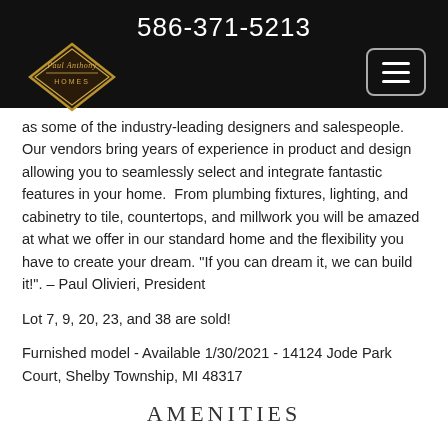586-371-5213
[Figure (logo): Paul Anthony Homes diamond-shaped logo]
as some of the industry-leading designers and salespeople.  Our vendors bring years of experience in product and design allowing you to seamlessly select and integrate fantastic features in your home.  From plumbing fixtures, lighting, and cabinetry to tile, countertops, and millwork you will be amazed at what we offer in our standard home and the flexibility you have to create your dream. "If you can dream it, we can build it!". – Paul Olivieri, President
Lot 7, 9, 20, 23, and 38 are sold!
Furnished model - Available 1/30/2021 - 14124 Jode Park Court, Shelby Township, MI 48317
AMENITIES